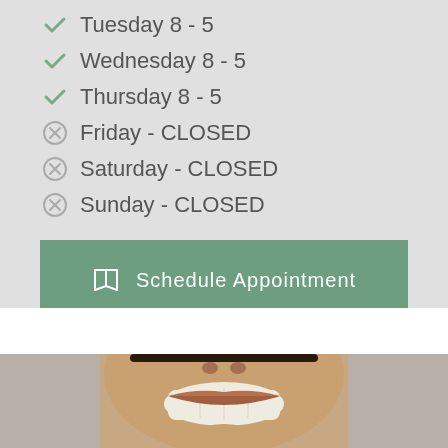✓ Tuesday 8 - 5
✓ Wednesday 8 - 5
✓ Thursday 8 - 5
⊗ Friday - CLOSED
⊗ Saturday - CLOSED
⊗ Sunday - CLOSED
Schedule Appointment
[Figure (photo): Close-up photo of a smiling person showing teeth, cropped to show lower face and chin, light gray background]